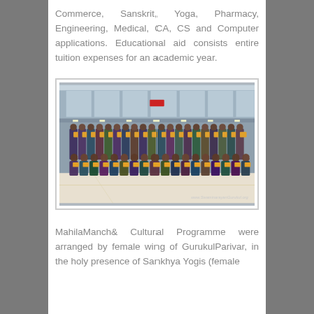Commerce, Sanskrit, Yoga, Pharmacy, Engineering, Medical, CA, CS and Computer applications. Educational aid consists entire tuition expenses for an academic year.
[Figure (photo): Group photo of students wearing yellow garlands and traditional attire, seated and standing in rows inside a large hall with a multi-level interior. Watermark reads www.SwaminarayanGurukul.org]
MahilaManch& Cultural Programme were arranged by female wing of GurukulParivar, in the holy presence of Sankhya Yogis (female